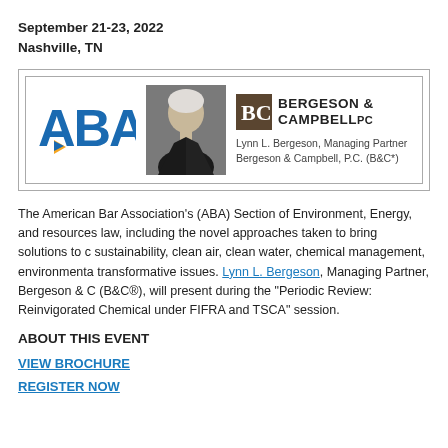September 21-23, 2022
Nashville, TN
[Figure (logo): ABA logo alongside a professional headshot photo and Bergeson & Campbell PC logo with text: Lynn L. Bergeson, Managing Partner, Bergeson & Campbell, P.C. (B&C*)]
The American Bar Association's (ABA) Section of Environment, Energy, and Resources' 30th Fall Conference will look at rapidly emerging developments in environmental and resources law, including the novel approaches taken to bring solutions to climate change, sustainability, clean air, clean water, chemical management, environmental justice, and other transformative issues. Lynn L. Bergeson, Managing Partner, Bergeson & Campbell (B&C®), will present during the "Periodic Review: Reinvigorated Chemical Reviews under FIFRA and TSCA" session.
ABOUT THIS EVENT
VIEW BROCHURE
REGISTER NOW